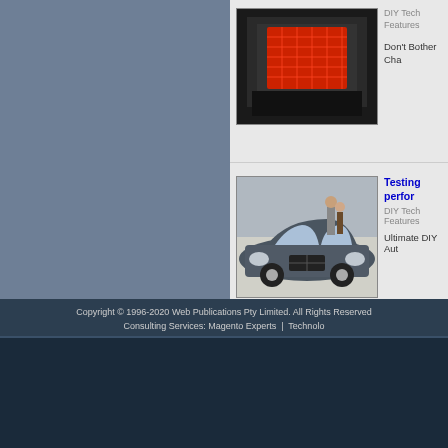[Figure (photo): Car engine with red air filter visible from top]
DIY Tech Features
Don't Bother Cha
[Figure (photo): Classic blue BMW car at a show]
Testing perfor
DIY Tech Features
Ultimate DIY Aut
[Figure (photo): Silver Subaru Impreza WRX front view]
What needs to
Technical Features
Analysing Road c
Copyright © 1996-2020 Web Publications Pty Limited. All Rights Reserved
Consulting Services: Magento Experts | Technolo